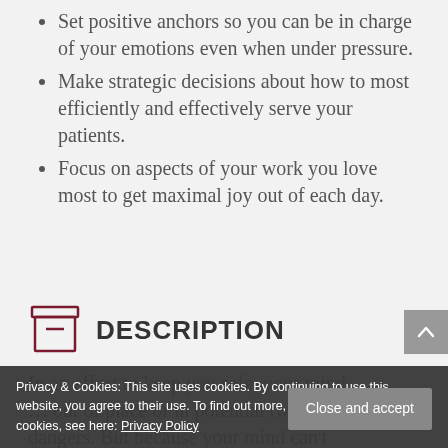Set positive anchors so you can be in charge of your emotions even when under pressure.
Make strategic decisions about how to most efficiently and effectively serve your patients.
Focus on aspects of your work you love most to get maximal joy out of each day.
DESCRIPTION
In an effort to keep you safe, your mind ... dangers. But because your mind can't differentiate between true threats and worried thoughts, this only makes you
Privacy & Cookies: This site uses cookies. By continuing to use this website, you agree to their use. To find out more, including how to control cookies, see here: Privacy Policy
Close and accept